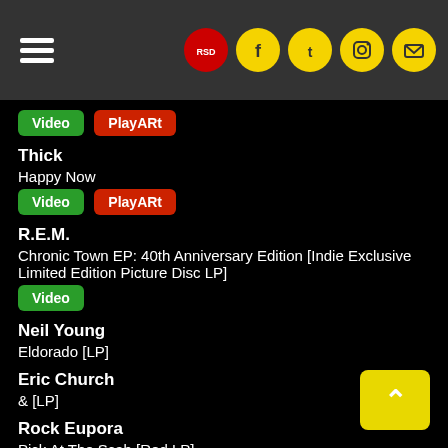Navigation header with hamburger menu and social icons
Video | PlayARt
Thick
Happy Now
Video | PlayARt
R.E.M.
Chronic Town EP: 40th Anniversary Edition [Indie Exclusive Limited Edition Picture Disc LP]
Video
Neil Young
Eldorado [LP]
Eric Church
& [LP]
Rock Eupora
Pick At The Scab [Red LP]
Madonna
Finally Enough Love [Indie Exclusive Limited Edition LP]
Early James
Strange Time To Be Alive [Limited Edition Brown Swirl LP]